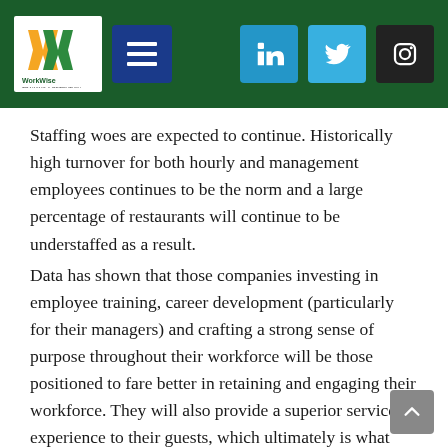WorkWise header navigation with logo, hamburger menu, LinkedIn, Twitter, and Instagram icons
Staffing woes are expected to continue. Historically high turnover for both hourly and management employees continues to be the norm and a large percentage of restaurants will continue to be understaffed as a result.
Data has shown that those companies investing in employee training, career development (particularly for their managers) and crafting a strong sense of purpose throughout their workforce will be those positioned to fare better in retaining and engaging their workforce. They will also provide a superior service experience to their guests, which ultimately is what wins the restaurant market share battle.